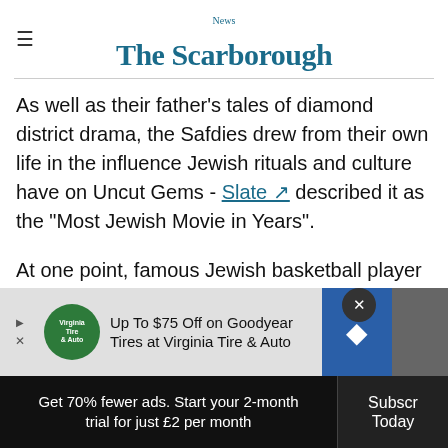The Scarborough News
As well as their father's tales of diamond district drama, the Safdies drew from their own life in the influence Jewish rituals and culture have on Uncut Gems - Slate described it as the “Most Jewish Movie in Years”.
At one point, famous Jewish basketball player Amar’e Stoudemire was going to fill the Kevin Garnett role.
[Figure (other): Advertisement banner: Up To $75 Off on Goodyear Tires at Virginia Tire & Auto]
Get 70% fewer ads. Start your 2-month trial for just £2 per month
Subscribe Today